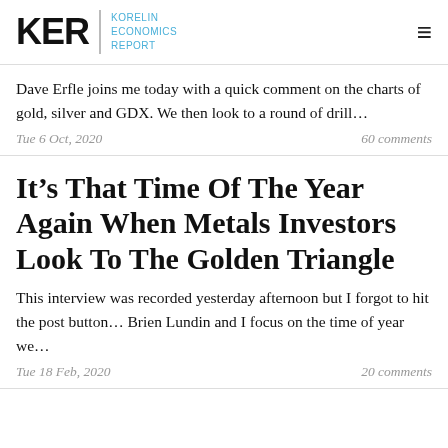KER | KORELIN ECONOMICS REPORT
Dave Erfle joins me today with a quick comment on the charts of gold, silver and GDX. We then look to a round of drill…
Tue 6 Oct, 2020   60 comments
It's That Time Of The Year Again When Metals Investors Look To The Golden Triangle
This interview was recorded yesterday afternoon but I forgot to hit the post button… Brien Lundin and I focus on the time of year we…
Tue 18 Feb, 2020   20 comments